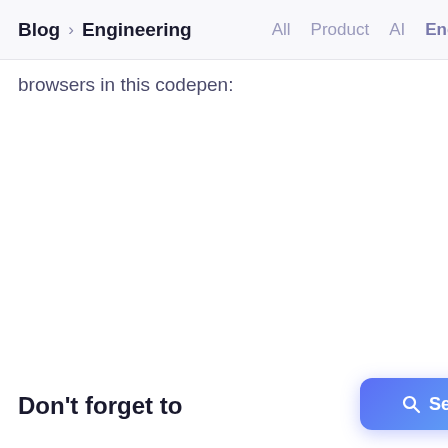Blog > Engineering   All  Product  AI  Engi
browsers in this codepen:
Don't forget to
[Figure (screenshot): A blue gradient Search button with magnifying glass icon and white text 'Search']